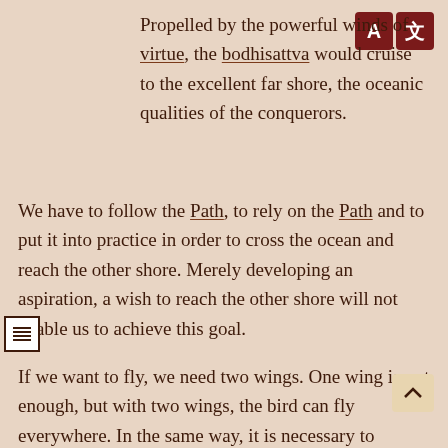Propelled by the powerful winds of virtue, the bodhisattva would cruise to the excellent far shore, the oceanic qualities of the conquerors.
We have to follow the Path, to rely on the Path and to put it into practice in order to cross the ocean and reach the other shore. Merely developing an aspiration, a wish to reach the other shore will not enable us to achieve this goal.
If we want to fly, we need two wings. One wing is not enough, but with two wings, the bird can fly everywhere. In the same way, it is necessary to combine method and wisdom in order to achieve the state of a perfectly enlightened Buddha. Method is the mind of enlightenment and wisdom is the excellent view.